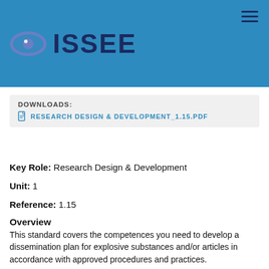[Figure (logo): ISSEE logo with eye icon on blue banner background, hamburger menu icon top right]
DOWNLOADS:
RESEARCH DESIGN & DEVELOPMENT_1.15.PDF
Key Role:  Research Design & Development
Unit:  1
Reference:  1.15
Overview
This standard covers the competences you need to develop a dissemination plan for explosive substances and/or articles in accordance with approved procedures and practices.
You will be required to demonstrate that you can ensure that the dissemination plan is in the correct...